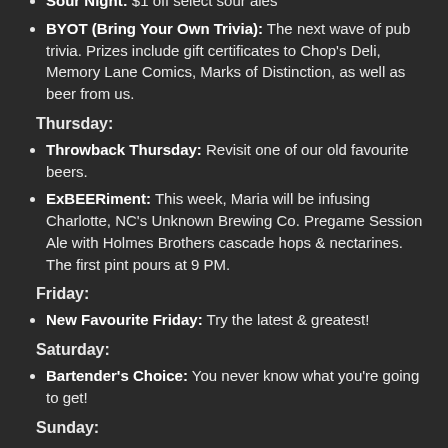Sour Night: $1 off select sour ales
BYOT (Bring Your Own Trivia): The next wave of pub trivia. Prizes include gift certificates to Chop's Deli, Memory Lane Comics, Marks of Distinction, as well as beer from us.
Thursday:
Throwback Thursday: Revisit one of our old favourite beers.
ExBEERiment: This week, Maria will be infusing Charlotte, NC's Unknown Brewing Co. Pregame Session Ale with Holmes Brothers cascade hops & nectarines. The first pint pours at 9 PM.
Friday:
New Favourite Friday: Try the latest & greatest!
Saturday:
Bartender's Choice: You never know what you're going to get!
Sunday:
Beer Church: This week we're hosting Original Sin Cider of New York City. We all know how sexy these pint glasses are! We have Original Sin Cider on tap and Dry Cider (fermented with champagne yeast) in